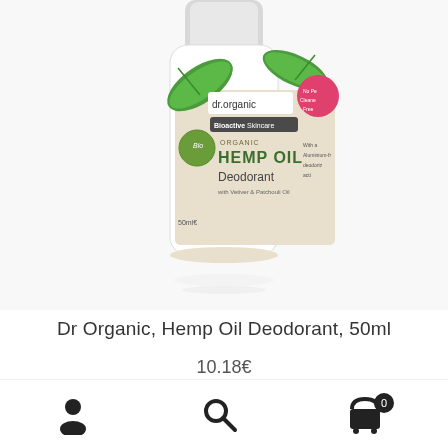[Figure (photo): Product photo of Dr. Organic Hemp Oil Deodorant 50ml roll-on bottle with green hemp leaf design and Bioactive Skincare label]
Dr Organic, Hemp Oil Deodorant, 50ml
10.18€
Add to cart